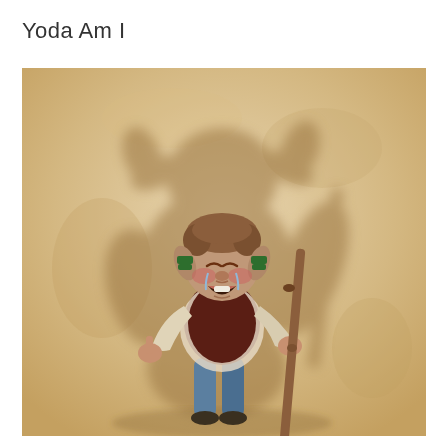Yoda Am I
[Figure (illustration): A painted illustration of a young boy with pointed ears (dressed as Yoda), crying and holding a wooden stick/staff, with a large shadow of Yoda cast on the warm beige/tan wall behind him. The boy wears a dark maroon vest over a white long-sleeve shirt and blue pants. The painting style is realistic and painterly.]